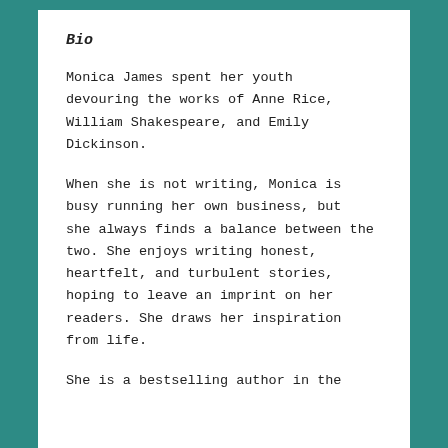Bio
Monica James spent her youth devouring the works of Anne Rice, William Shakespeare, and Emily Dickinson.
When she is not writing, Monica is busy running her own business, but she always finds a balance between the two. She enjoys writing honest, heartfelt, and turbulent stories, hoping to leave an imprint on her readers. She draws her inspiration from life.
She is a bestselling author in the